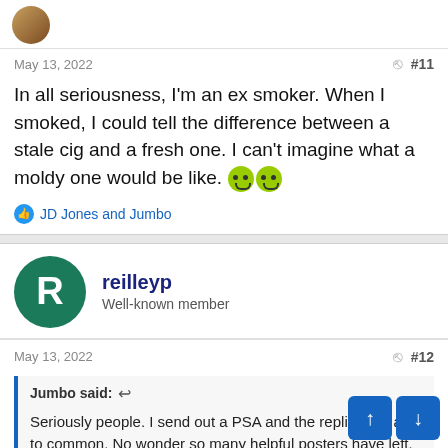May 13, 2022  #11
In all seriousness, I'm an ex smoker. When I smoked, I could tell the difference between a stale cig and a fresh one. I can't imagine what a moldy one would be like. 🤢🤢
JD Jones and Jumbo
reilleyp
Well-known member
May 13, 2022  #12
Jumbo said:
Seriously people. I send out a PSA and the replies are all to common. No wonder so many helpful posters have left. So smoking is bad whiles getting lit all day on rum answering posts san ca is all so much healthier. Have a nice weekend sitting in fro vo computers waiting to sh!t on any and all posters.